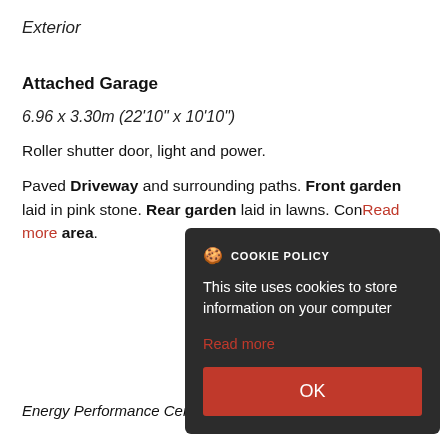Exterior
Attached Garage
6.96 x 3.30m (22'10" x 10'10")
Roller shutter door, light and power.
Paved Driveway and surrounding paths. Front garden laid in pink stone. Rear garden laid in lawns. Conser... area.
[Figure (screenshot): Cookie policy overlay dialog with dark background. Header reads 'COOKIE POLICY' with cookie icon. Body text: 'This site uses cookies to store information on your computer'. Red 'Read more' link. Red OK button.]
Energy Performance Certificate Available on Request